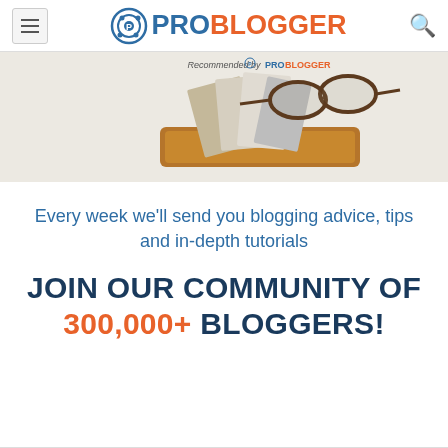ProBlogger
[Figure (photo): Photo of reading glasses resting on books/notebooks in a leather tray with 'Recommended by ProBlogger' text overlay at top]
Every week we'll send you blogging advice, tips and in-depth tutorials
JOIN OUR COMMUNITY OF 300,000+ BLOGGERS!